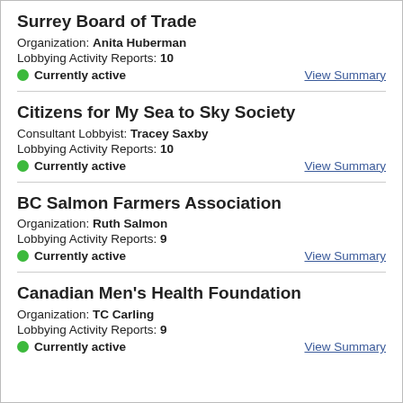Surrey Board of Trade
Organization: Anita Huberman
Lobbying Activity Reports: 10
Currently active   View Summary
Citizens for My Sea to Sky Society
Consultant Lobbyist: Tracey Saxby
Lobbying Activity Reports: 10
Currently active   View Summary
BC Salmon Farmers Association
Organization: Ruth Salmon
Lobbying Activity Reports: 9
Currently active   View Summary
Canadian Men's Health Foundation
Organization: TC Carling
Lobbying Activity Reports: 9
Currently active   View Summary